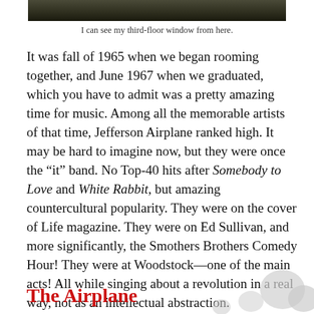[Figure (photo): Dark photograph strip showing outdoor scene, bottom portion of image visible at top of page]
I can see my third-floor window from here.
It was fall of 1965 when we began rooming together, and June 1967 when we graduated, which you have to admit was a pretty amazing time for music. Among all the memorable artists of that time, Jefferson Airplane ranked high. It may be hard to imagine now, but they were once the “it” band. No Top-40 hits after Somebody to Love and White Rabbit, but amazing countercultural popularity. They were on the cover of Life magazine. They were on Ed Sullivan, and more significantly, the Smothers Brothers Comedy Hour! They were at Woodstock—one of the main acts! All while singing about a revolution in a real way, not as an intellectual abstraction.
The Airplane